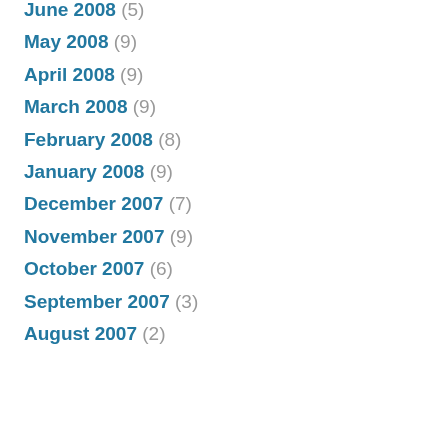June 2008 (5)
May 2008 (9)
April 2008 (9)
March 2008 (9)
February 2008 (8)
January 2008 (9)
December 2007 (7)
November 2007 (9)
October 2007 (6)
September 2007 (3)
August 2007 (2)